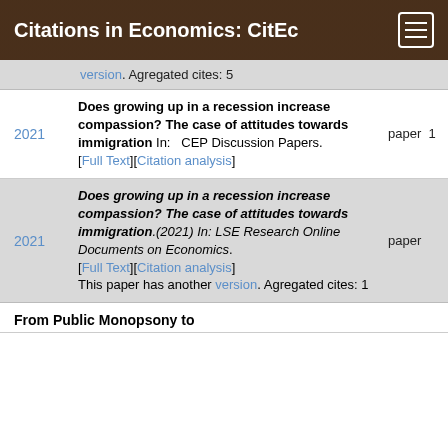Citations in Economics: CitEc
version. Agregated cites: 5
2021 | Does growing up in a recession increase compassion? The case of attitudes towards immigration In: CEP Discussion Papers. [Full Text][Citation analysis] | paper 1
2021 | Does growing up in a recession increase compassion? The case of attitudes towards immigration.(2021) In: LSE Research Online Documents on Economics. [Full Text][Citation analysis] This paper has another version. Agregated cites: 1 | paper
From Public Monopsony to